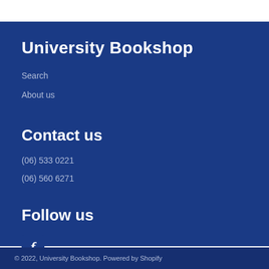University Bookshop
Search
About us
Contact us
(06) 533 0221
(06) 560 6271
Follow us
[Figure (logo): Facebook icon (stylized lowercase f)]
© 2022, University Bookshop. Powered by Shopify